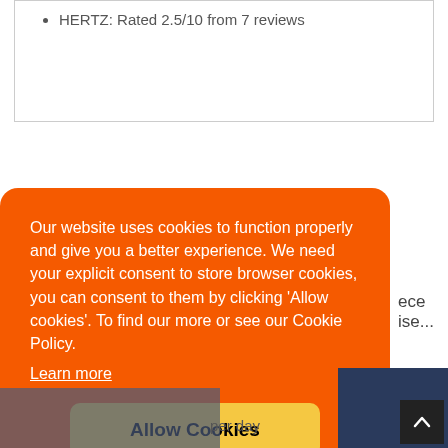HERTZ: Rated 2.5/10 from 7 reviews
Our website uses cookies to function properly and give you a better experience. We need your explicit consent to store browser cookies, you can consent to them by clicking 'Allow cookies'. To find our more or see our Cookie Policy.
Learn more
Allow Cookies
ece
ise...
per day